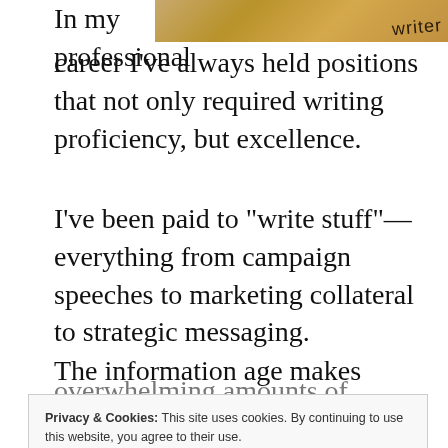[Figure (photo): Wooden textured background image with handwritten text 'writer' in the top right corner]
In my professional career I've always held positions that not only required writing proficiency, but excellence.
I've been paid to “write stuff”—everything from campaign speeches to marketing collateral to strategic messaging.
The information age makes reading and writing proficiency paramount. And with technology and
Privacy & Cookies: This site uses cookies. By continuing to use this website, you agree to their use.
To find out more, including how to control cookies, see here: Cookie Policy
overwhelming amounts of information and share